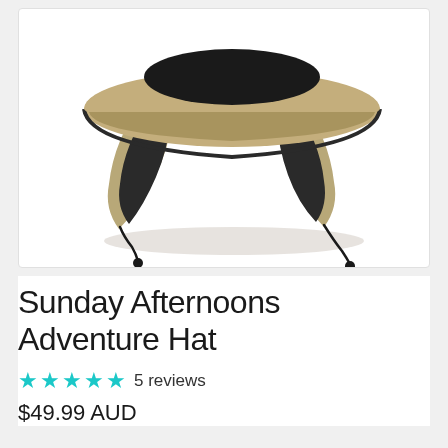[Figure (photo): A Sunday Afternoons Adventure Hat shown on a white background. The hat is khaki/tan colored with a black crown, wide brim, neck flap, and black drawstring chin cord.]
Sunday Afternoons Adventure Hat
★★★★★ 5 reviews
$49.99 AUD